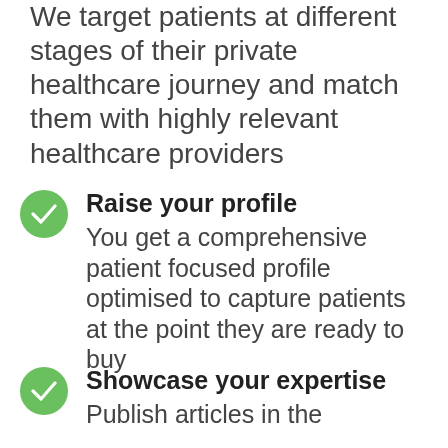We target patients at different stages of their private healthcare journey and match them with highly relevant healthcare providers
Raise your profile
You get a comprehensive patient focused profile optimised to capture patients at the point they are ready to buy
Showcase your expertise
Publish articles in the...